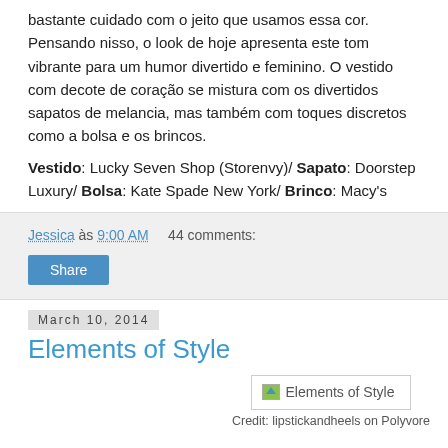bastante cuidado com o jeito que usamos essa cor. Pensando nisso, o look de hoje apresenta este tom vibrante para um humor divertido e feminino. O vestido com decote de coração se mistura com os divertidos sapatos de melancia, mas também com toques discretos como a bolsa e os brincos.
Vestido: Lucky Seven Shop (Storenvy)/ Sapato: Doorstep Luxury/ Bolsa: Kate Spade New York/ Brinco: Macy's
Jessica às 9:00 AM    44 comments:
Share
March 10, 2014
Elements of Style
[Figure (photo): Elements of Style image placeholder]
Credit: lipstickandheels on Polyvore
Hey beauties! I hope you had a fabulous weekend and may God bless this new week that's starting!Well, it's time for another Get The Look post and